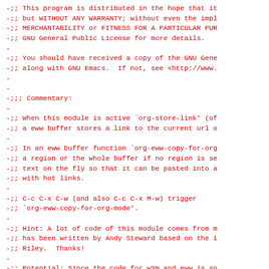-;; This program is distributed in the hope that it
-;; but WITHOUT ANY WARRANTY; without even the impl
-;; MERCHANTABILITY or FITNESS FOR A PARTICULAR PUR
-;; GNU General Public License for more details.
-
-;; You should have received a copy of the GNU Gene
-;; along with GNU Emacs.  If not, see <http://www.
-
-
-;;; Commentary:
-
-;; When this module is active `org-store-link' (of
-;; a eww buffer stores a link to the current url o
-
-;; In an eww buffer function `org-eww-copy-for-org
-;; a region or the whole buffer if no region is se
-;; text on the fly so that it can be pasted into a
-;; with hot links.
-
-;; C-c C-x C-w (and also C-c C-x M-w) trigger
-;; `org-eww-copy-for-org-mode'.
-
-;; Hint: A lot of code of this module comes from m
-;; has been written by Andy Steward based on the i
-;; Riley.  Thanks!
-
-;; Potential: Since the code for w3m and eww is so
-;; try to refactor.
-
-